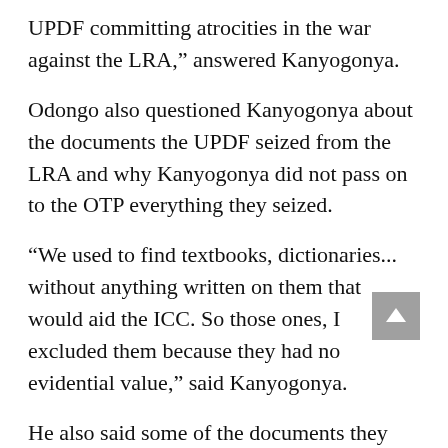UPDF committing atrocities in the war against the LRA,” answered Kanyogonya.
Odongo also questioned Kanyogonya about the documents the UPDF seized from the LRA and why Kanyogonya did not pass on to the OTP everything they seized.
“We used to find textbooks, dictionaries... without anything written on them that would aid the ICC. So those ones, I excluded them because they had no evidential value,” said Kanyogonya.
He also said some of the documents they seized were “indecipherable.”
“Can you assist court to understand what you